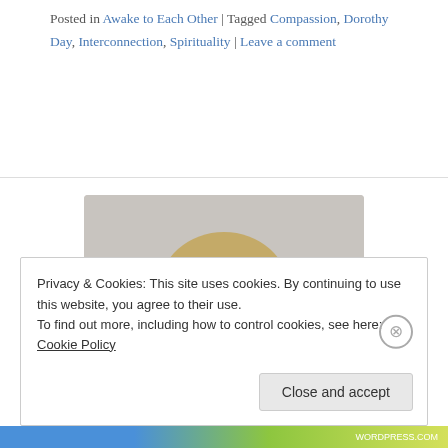Posted in Awake to Each Other | Tagged Compassion, Dorothy Day, Interconnection, Spirituality | Leave a comment
[Figure (photo): Headshot photo of a middle-aged woman with shoulder-length wavy blonde hair, smiling, wearing a black top, against a light grey background.]
Privacy & Cookies: This site uses cookies. By continuing to use this website, you agree to their use. To find out more, including how to control cookies, see here: Cookie Policy